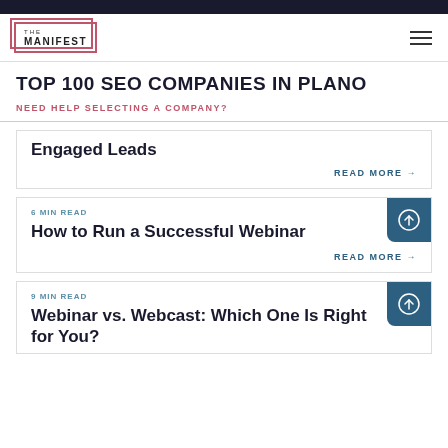THE MANIFEST
TOP 100 SEO COMPANIES IN PLANO
NEED HELP SELECTING A COMPANY?
Engaged Leads
READ MORE →
6 MIN READ
How to Run a Successful Webinar
READ MORE →
9 MIN READ
Webinar vs. Webcast: Which One Is Right for You?